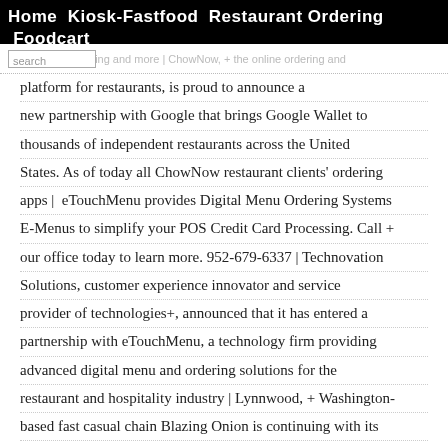Home  Kiosk-Fastfood  Restaurant Ordering  Foodcart
fundraising and more | ChowNow, + the online ordering and platform for restaurants, is proud to announce a new partnership with Google that brings Google Wallet to thousands of independent restaurants across the United States. As of today all ChowNow restaurant clients' ordering apps | eTouchMenu provides Digital Menu Ordering Systems E-Menus to simplify your POS Credit Card Processing. Call + our office today to learn more. 952-679-6337 | Technovation Solutions, customer experience innovator and service provider of technologies+, announced that it has entered a partnership with eTouchMenu, a technology firm providing advanced digital menu and ordering solutions for the restaurant and hospitality industry | Lynnwood, + Washington-based fast casual chain Blazing Onion is continuing with its mission to implement new layers of technology throughout its restaurants. The chain has deployed eTouchMenu at its